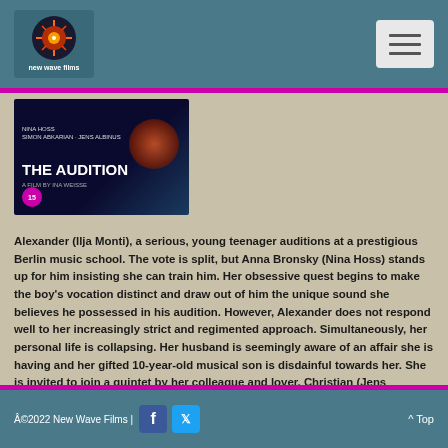New Wave Films
[Figure (photo): Movie poster for 'The Audition' - dark blue background with orange circular graphic, text: NINA HOSS, SIMON ABKARIAN, JENS ALBINUS, THE AUDITION, A FILM BY INA WEISSE, rating badge 15]
Alexander (Ilja Monti), a serious, young teenager auditions at a prestigious Berlin music school. The vote is split, but Anna Bronsky (Nina Hoss) stands up for him insisting she can train him. Her obsessive quest begins to make the boy's vocation distinct and draw out of him the unique sound she believes he possessed in his audition. However, Alexander does not respond well to her increasingly strict and regimented approach. Simultaneously, her personal life is collapsing. Her husband is seemingly aware of an affair she is having and her gifted 10-year-old musical son is disdainful towards her. She is invited to join a quintet by her colleague and lover, Christian (Jens Albinus), a promising respite, but is reluctant to
©2022 New Wave Films | ^ Top